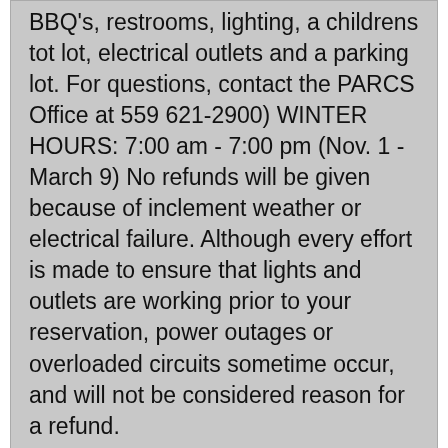BBQ's, restrooms, lighting, a childrens tot lot, electrical outlets and a parking lot. For questions, contact the PARCS Office at 559 621-2900) WINTER HOURS: 7:00 am - 7:00 pm (Nov. 1 - March 9) No refunds will be given because of inclement weather or electrical failure. Although every effort is made to ensure that lights and outlets are working prior to your reservation, power outages or overloaded circuits sometime occur, and will not be considered reason for a refund.
+ 7:00 am - 7:00 pm Available
| Facility Description | Mt.View 1 |
| Location Description | Woodward Regional Pk |
| Class Description | Picnic Table |
| Date | 01/19/2023 |
| Capacity | 25 |